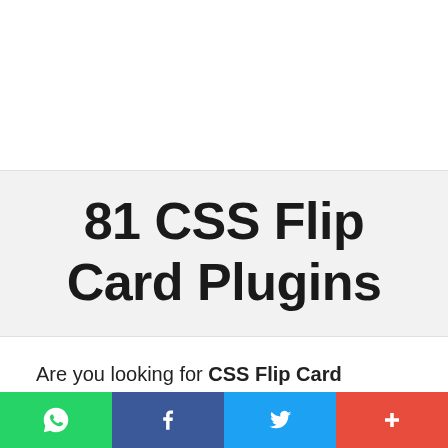81 CSS Flip Card Plugins
Are you looking for CSS Flip Card Plugins If yes then you are on right place because here we have collected most popular 81 CSS Flip Card Plugins for you and also because of followin